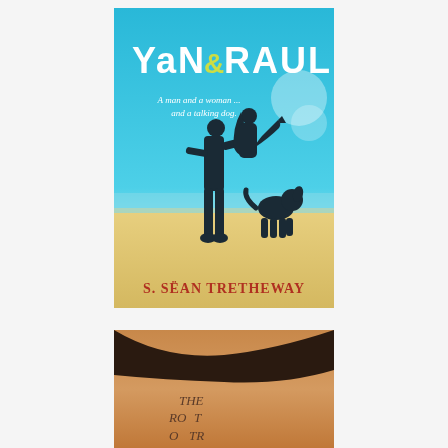[Figure (illustration): Book cover for 'Yan & Raul' by S. Séan Tretheway. Turquoise beach background with silhouettes of a man carrying a woman and a sitting dog. Title in white stylized text at top, subtitle 'A man and a woman... and a talking dog.' in white italic text. Author name in red serif text at bottom.]
[Figure (photo): Partial view of a book cover or image showing text 'THE RO TR' on what appears to be skin or a textured surface. Partially cut off at bottom of page.]